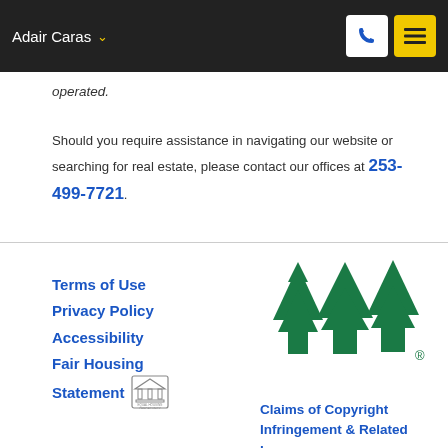Adair Caras
operated.
Should you require assistance in navigating our website or searching for real estate, please contact our offices at 253-499-7721.
Terms of Use
Privacy Policy
Accessibility
Fair Housing Statement
[Figure (logo): Windermere Real Estate triple tree arrow logo in green with registered trademark symbol]
Claims of Copyright Infringement & Related Issues